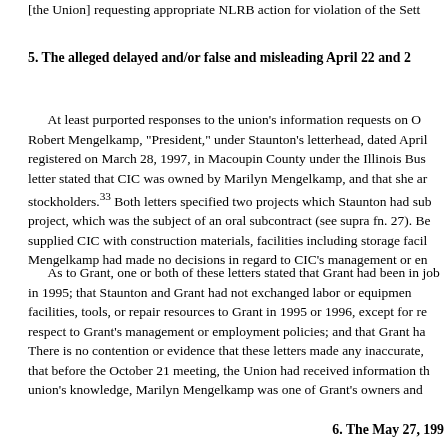[the Union] requesting appropriate NLRB action for violation of the Sett
5. The alleged delayed and/or false and misleading April 22 and 2
At least purported responses to the union's information requests on O Robert Mengelkamp, "President," under Staunton's letterhead, dated April registered on March 28, 1997, in Macoupin County under the Illinois Bus letter stated that CIC was owned by Marilyn Mengelkamp, and that she ar stockholders.33 Both letters specified two projects which Staunton had sub project, which was the subject of an oral subcontract (see supra fn. 27). Be supplied CIC with construction materials, facilities including storage facil Mengelkamp had made no decisions in regard to CIC's management or en
As to Grant, one or both of these letters stated that Grant had been in job in 1995; that Staunton and Grant had not exchanged labor or equipmen facilities, tools, or repair resources to Grant in 1995 or 1996, except for re respect to Grant's management or employment policies; and that Grant ha There is no contention or evidence that these letters made any inaccurate, that before the October 21 meeting, the Union had received information th union's knowledge, Marilyn Mengelkamp was one of Grant's owners and
6. The May 27, 199